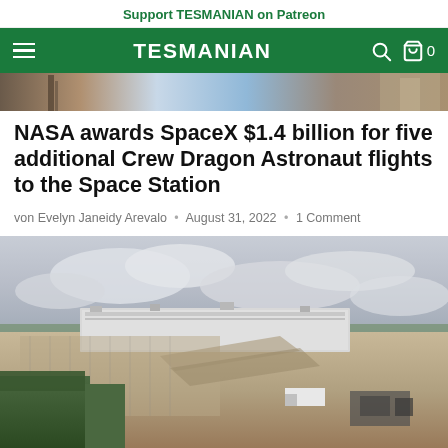Support TESMANIAN on Patreon
TESMANIAN
[Figure (photo): Partial top of a hero image showing rocket/launch equipment and sky]
NASA awards SpaceX $1.4 billion for five additional Crew Dragon Astronaut flights to the Space Station
von Evelyn Janeidy Arevalo • August 31, 2022 • 1 Comment
[Figure (photo): Aerial drone photograph of a large industrial facility (Tesla Gigafactory) surrounded by trees and parking lots under a cloudy sky]